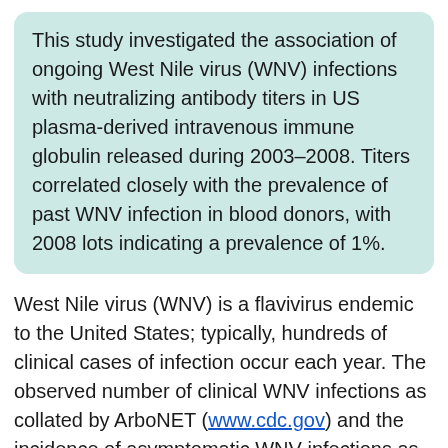This study investigated the association of ongoing West Nile virus (WNV) infections with neutralizing antibody titers in US plasma-derived intravenous immune globulin released during 2003–2008. Titers correlated closely with the prevalence of past WNV infection in blood donors, with 2008 lots indicating a prevalence of 1%.
West Nile virus (WNV) is a flavivirus endemic to the United States; typically, hundreds of clinical cases of infection occur each year. The observed number of clinical WNV infections as collated by ArboNET (www.cdc.gov) and the incidence of asymptomatic WNV infections as shown by nucleic acid testing (NAT) of the US blood supply (1) indicate that ≈3 million WNV infections occurred in humans during 1999–2008.